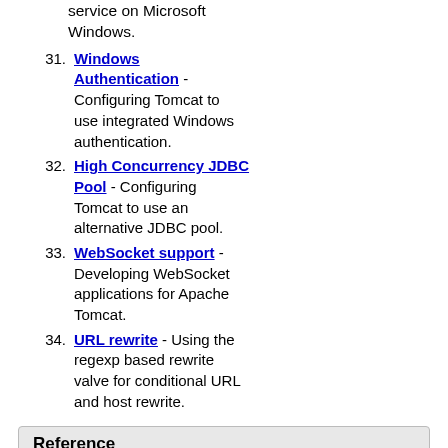service on Microsoft Windows.
31. Windows Authentication - Configuring Tomcat to use integrated Windows authentication.
32. High Concurrency JDBC Pool - Configuring Tomcat to use an alternative JDBC pool.
33. WebSocket support - Developing WebSocket applications for Apache Tomcat.
34. URL rewrite - Using the regexp based rewrite valve for conditional URL and host rewrite.
Reference
The following documents are aimed at System Administrators